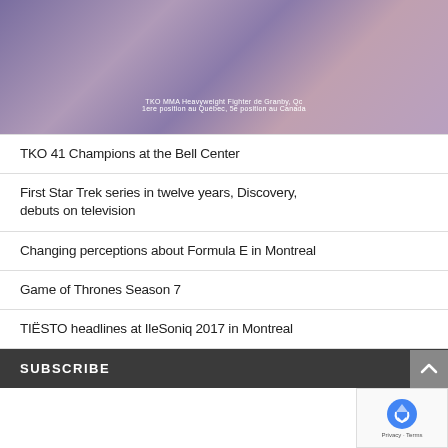[Figure (photo): MMA fighter hero image with purple/mauve tones and overlay text about TKO MMA Heavyweight Fighter de Granby, Qc, 1ere position au Quebec, 5e position au Canada]
TKO 41 Champions at the Bell Center
First Star Trek series in twelve years, Discovery, debuts on television
Changing perceptions about Formula E in Montreal
Game of Thrones Season 7
TIËSTO headlines at IleSoniq 2017 in Montreal
SUBSCRIBE